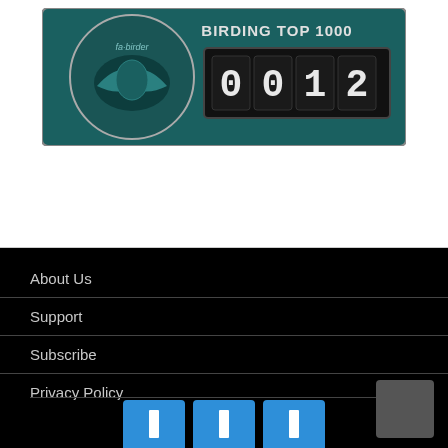[Figure (logo): Birding Top 1000 badge showing rank 0012 with a circular bird logo on teal background and digital counter display]
About Us
Support
Subscribe
Privacy Policy
WordPress Hosting
[Figure (other): Three blue social media buttons at the bottom of the page, partially visible]